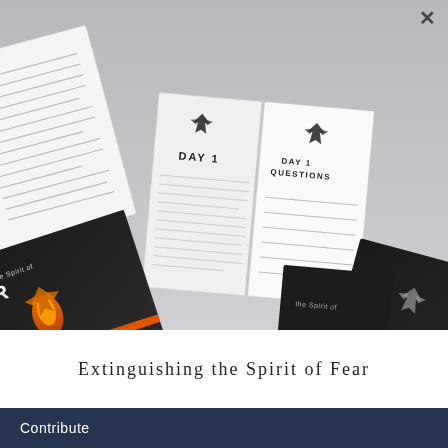[Figure (photo): Photo mockup of multiple open books and book covers for 'Extinguishing the Spirit of Fear' — showing pages with 'DAY 1', 'DAY 1 QUESTIONS', 'PRAYER' sections, and dark-covered books with an eagle/bird logo and orange flame design, arranged on a gray surface.]
Extinguishing the Spirit of Fear
Contribute   Privacy · Terms